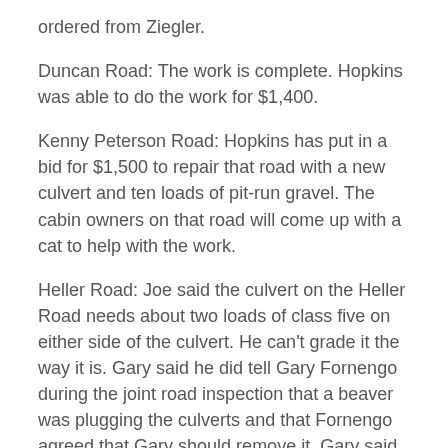ordered from Ziegler.
Duncan Road: The work is complete. Hopkins was able to do the work for $1,400.
Kenny Peterson Road: Hopkins has put in a bid for $1,500 to repair that road with a new culvert and ten loads of pit-run gravel. The cabin owners on that road will come up with a cat to help with the work.
Heller Road: Joe said the culvert on the Heller Road needs about two loads of class five on either side of the culvert. He can't grade it the way it is. Gary said he did tell Gary Fornengo during the joint road inspection that a beaver was plugging the culverts and that Fornengo agreed that Gary should remove it. Gary said it might be time to review our joint road agreement with New Dosey and possibly change it to one like Arna's, where each town will do necessary gravel and repairs on the Heller Road on